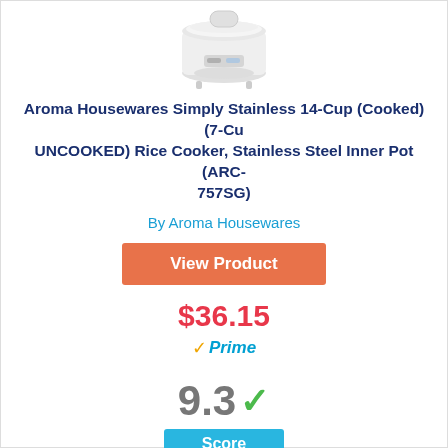[Figure (photo): White Aroma rice cooker partially visible at top of page]
Aroma Housewares Simply Stainless 14-Cup (Cooked)(7-Cu UNCOOKED) Rice Cooker, Stainless Steel Inner Pot (ARC-757SG)
By Aroma Housewares
View Product
$36.15
Prime
9.3
Score